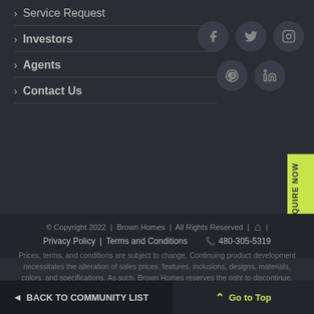> Service Request
> Investors
> Agents
> Contact Us
[Figure (other): Social media icons: Facebook, Twitter, Instagram, Pinterest, LinkedIn in dark circular buttons]
INQUIRE NOW
© Copyright 2022 | Brown Homes | All Rights Reserved | [fair housing icon] |
Privacy Policy | Terms and Conditions    📞 480-305-5319
Prices, terms, and conditions are subject to change. Continuing product development necessitates the alteration of sales prices, features, inclusions, designs, materials, colors, and specifications. As such, Brown Homes reserves the right to discontinue, substitute, or change such items with no obligation and without prior notice. Some features are optional and may be subject to extra cost and/or lot restrictions. Please consult a Brown Homes representative for all information and claims on supplier,
◄ BACK TO COMMUNITY LIST
^ Go to Top